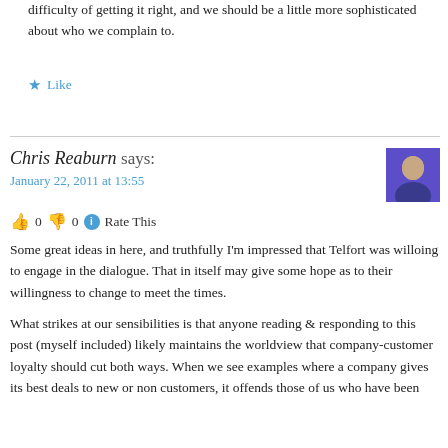difficulty of getting it right, and we should be a little more sophisticated about who we complain to.
Like
Chris Reaburn says:
January 22, 2011 at 13:55
0  0  Rate This
Some great ideas in here, and truthfully I'm impressed that Telfort was willoing to engage in the dialogue. That in itself may give some hope as to their willingness to change to meet the times.
What strikes at our sensibilities is that anyone reading & responding to this post (myself included) likely maintains the worldview that company-customer loyalty should cut both ways. When we see examples where a company gives its best deals to new or non customers, it offends those of us who have been